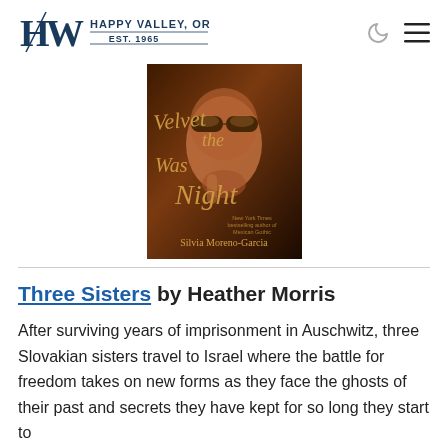HW HAPPY VALLEY, OR EST. 1965
[Figure (photo): Book cover of 'Velvet Was the Night' by Silvia Moreno-Garcia, showing a woman with large sunglasses and dramatic makeup against a dark background with gold script text.]
Three Sisters by Heather Morris
After surviving years of imprisonment in Auschwitz, three Slovakian sisters travel to Israel where the battle for freedom takes on new forms as they face the ghosts of their past and secrets they have kept for so long they start to…